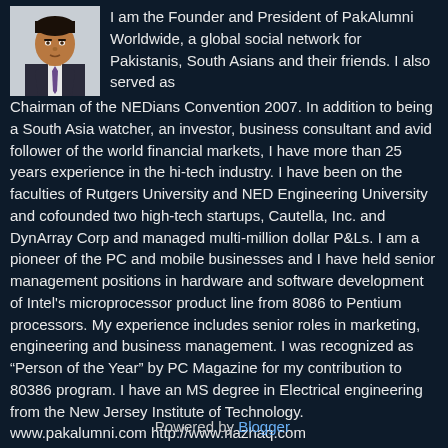[Figure (photo): Headshot photo of a man in a suit and tie against a light background]
I am the Founder and President of PakAlumni Worldwide, a global social network for Pakistanis, South Asians and their friends. I also served as Chairman of the NEDians Convention 2007. In addition to being a South Asia watcher, an investor, business consultant and avid follower of the world financial markets, I have more than 25 years experience in the hi-tech industry. I have been on the faculties of Rutgers University and NED Engineering University and cofounded two high-tech startups, Cautella, Inc. and DynArray Corp and managed multi-million dollar P&Ls. I am a pioneer of the PC and mobile businesses and I have held senior management positions in hardware and software development of Intel's microprocessor product line from 8086 to Pentium processors. My experience includes senior roles in marketing, engineering and business management. I was recognized as “Person of the Year” by PC Magazine for my contribution to 80386 program. I have an MS degree in Electrical engineering from the New Jersey Institute of Technology. www.pakalumni.com http://www.riazhaq.com http://southasiainvestor.blogspot.com
View my complete profile
Powered by Blogger.